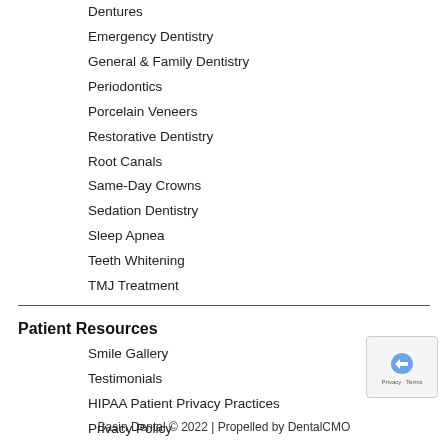Dentures
Emergency Dentistry
General & Family Dentistry
Periodontics
Porcelain Veneers
Restorative Dentistry
Root Canals
Same-Day Crowns
Sedation Dentistry
Sleep Apnea
Teeth Whitening
TMJ Treatment
Patient Resources
Smile Gallery
Testimonials
HIPAA Patient Privacy Practices
Privacy Policy
Accessibility
Basin Dental © 2022 | Propelled by DentalCMO